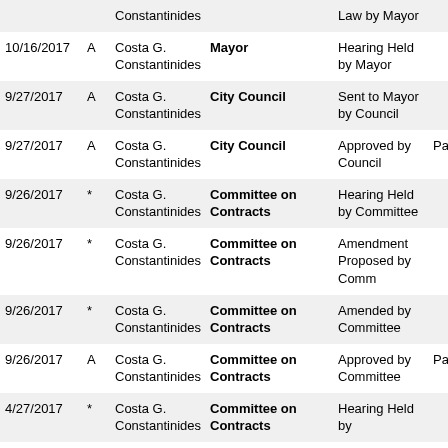| Date |  | Sponsor | Body | Action |  |
| --- | --- | --- | --- | --- | --- |
|  |  | Constantinides |  | Law by Mayor |  |
| 10/16/2017 | A | Costa G. Constantinides | Mayor | Hearing Held by Mayor |  |
| 9/27/2017 | A | Costa G. Constantinides | City Council | Sent to Mayor by Council |  |
| 9/27/2017 | A | Costa G. Constantinides | City Council | Approved by Council | Pa |
| 9/26/2017 | * | Costa G. Constantinides | Committee on Contracts | Hearing Held by Committee |  |
| 9/26/2017 | * | Costa G. Constantinides | Committee on Contracts | Amendment Proposed by Comm |  |
| 9/26/2017 | * | Costa G. Constantinides | Committee on Contracts | Amended by Committee |  |
| 9/26/2017 | A | Costa G. Constantinides | Committee on Contracts | Approved by Committee | Pa |
| 4/27/2017 | * | Costa G. Constantinides | Committee on Contracts | Hearing Held by |  |